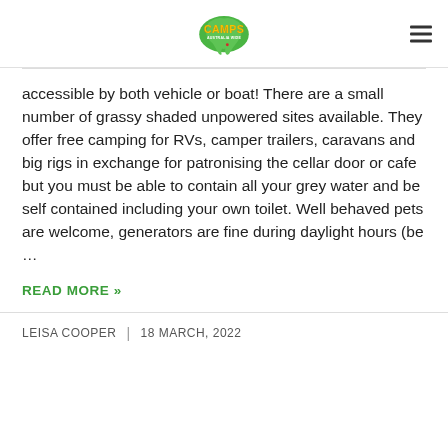CAMPS AUSTRALIA WIDE
accessible by both vehicle or boat! There are a small number of grassy shaded unpowered sites available. They offer free camping for RVs, camper trailers, caravans and big rigs in exchange for patronising the cellar door or cafe but you must be able to contain all your grey water and be self contained including your own toilet. Well behaved pets are welcome, generators are fine during daylight hours (be …
READ MORE »
LEISA COOPER  |  18 MARCH, 2022